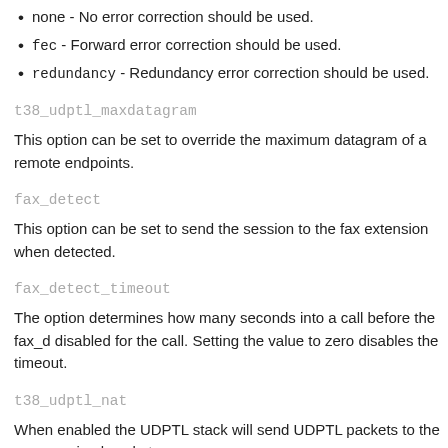none - No error correction should be used.
fec - Forward error correction should be used.
redundancy - Redundancy error correction should be used.
t38_udptl_maxdatagram
This option can be set to override the maximum datagram of a remote endpoints.
fax_detect
This option can be set to send the session to the fax extension when detected.
fax_detect_timeout
The option determines how many seconds into a call before the fax_d disabled for the call. Setting the value to zero disables the timeout.
t38_udptl_nat
When enabled the UDPTL stack will send UDPTL packets to the sour received packets.